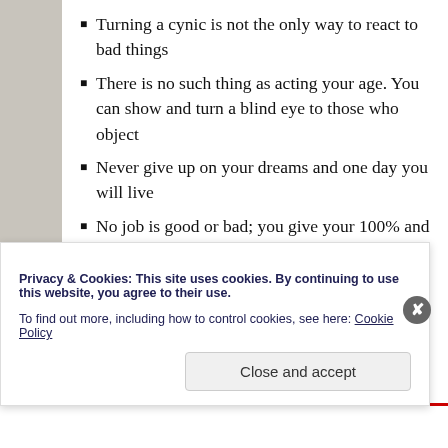Turning a cynic is not the only way to react to bad things
There is no such thing as acting your age. You can show and turn a blind eye to those who object
Never give up on your dreams and one day you will live
No job is good or bad; you give your 100% and you earn
These are just a few examples as I went through my other blog in
But, now let me ask you is the society right in its assumption? O genre? If you do, don't forget to share your favourites under my
Privacy & Cookies: This site uses cookies. By continuing to use this website, you agree to their use.
To find out more, including how to control cookies, see here: Cookie Policy
Close and accept